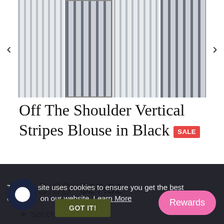[Figure (photo): Product image carousel showing a striped off-the-shoulder blouse in four views, with left and right navigation arrows]
Off The Shoulder Vertical Stripes Blouse in Black SALE
$19.00  $27.52 (strikethrough)
Size Chart
This website uses cookies to ensure you get the best experience on our website. Learn More
GOT IT!
Rewards